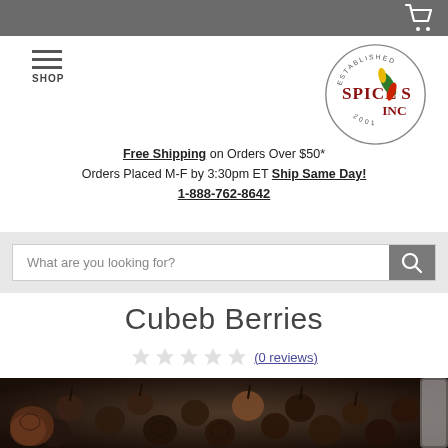SHOP
Free Shipping on Orders Over $50* Orders Placed M-F by 3:30pm ET Ship Same Day! 1-888-762-8642
Cubeb Berries
(0 reviews)
[Figure (photo): Close-up photo of dried cubeb berries — dark, wrinkled, peppercorn-like dried berries with small stems, in a pile with part of a metal bowl visible on the right edge.]